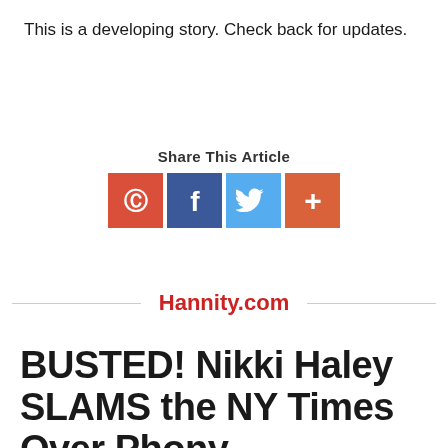This is a developing story. Check back for updates.
[Figure (infographic): Share This Article section with four social media icon buttons: Parler (red), Facebook (blue), Twitter (light blue), and a plus/more button (orange-red)]
Hannity.com
BUSTED! Nikki Haley SLAMS the NY Times Over Phony